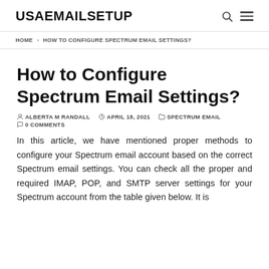USAEMAILSETUP
HOME > HOW TO CONFIGURE SPECTRUM EMAIL SETTINGS?
How to Configure Spectrum Email Settings?
ALBERTA M RANDALL   APRIL 18, 2021   SPECTRUM EMAIL   0 COMMENTS
In this article, we have mentioned proper methods to configure your Spectrum email account based on the correct Spectrum email settings. You can check all the proper and required IMAP, POP, and SMTP server settings for your Spectrum account from the table given below. It is